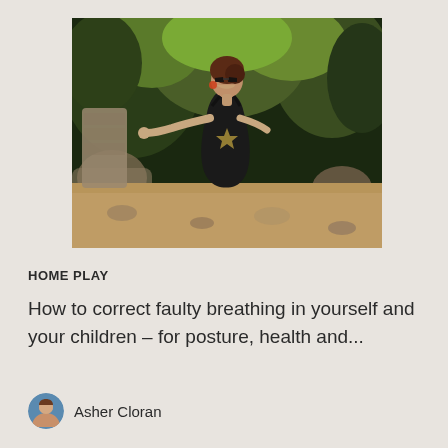[Figure (photo): Woman in dark outfit with arms outstretched, head tilted back wearing sunglasses, surrounded by lush green foliage and rocky ground outdoors]
HOME PLAY
How to correct faulty breathing in yourself and your children – for posture, health and...
Asher Cloran